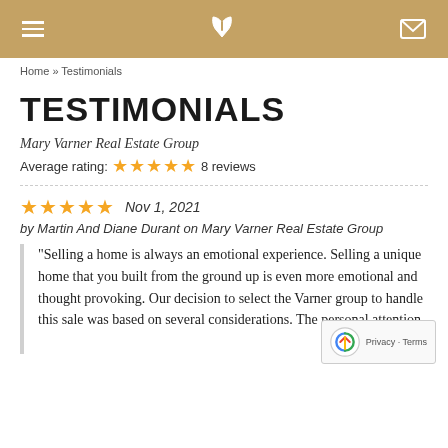≡  ☎  ✉
Home » Testimonials
TESTIMONIALS
Mary Varner Real Estate Group
Average rating: ★★★★★ 8 reviews
★★★★★ Nov 1, 2021
by Martin And Diane Durant on Mary Varner Real Estate Group
"Selling a home is always an emotional experience. Selling a unique home that you built from the ground up is even more emotional and thought provoking. Our decision to select the Varner group to handle this sale was based on several considerations. The personal attention